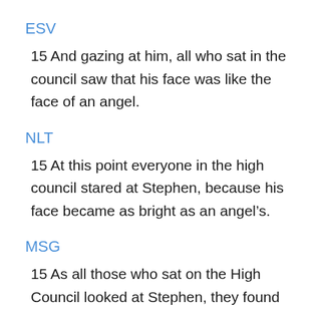ESV
15 And gazing at him, all who sat in the council saw that his face was like the face of an angel.
NLT
15 At this point everyone in the high council stared at Stephen, because his face became as bright as an angel’s.
MSG
15 As all those who sat on the High Council looked at Stephen, they found they couldn't take their eyes off him -